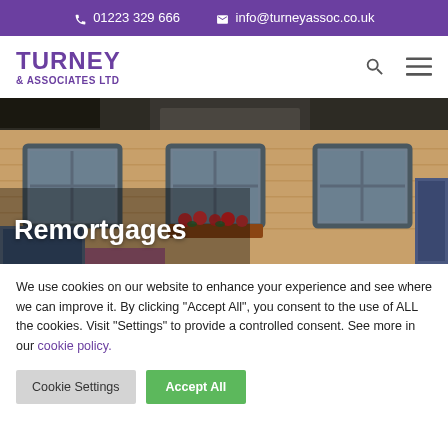📞 01223 329 666   ✉ info@turneyassoc.co.uk
[Figure (logo): Turney & Associates Ltd logo in purple]
[Figure (photo): Photo of brick residential building with blue-framed windows and flower boxes]
Remortgages
We use cookies on our website to enhance your experience and see where we can improve it. By clicking "Accept All", you consent to the use of ALL the cookies. Visit "Settings" to provide a controlled consent. See more in our cookie policy.
Cookie Settings | Accept All